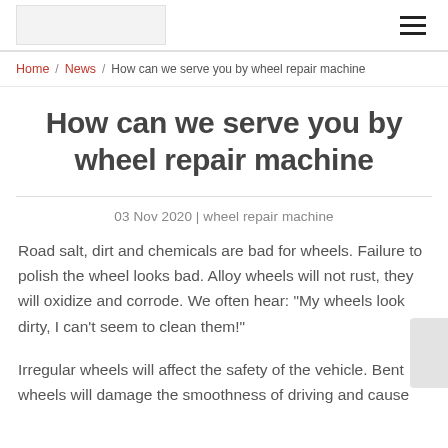[Logo] [Menu]
Home / News / How can we serve you by wheel repair machine
How can we serve you by wheel repair machine
03 Nov 2020 | wheel repair machine
Road salt, dirt and chemicals are bad for wheels. Failure to polish the wheel looks bad. Alloy wheels will not rust, they will oxidize and corrode. We often hear: "My wheels look dirty, I can't seem to clean them!"
Irregular wheels will affect the safety of the vehicle. Bent wheels will damage the smoothness of driving and cause